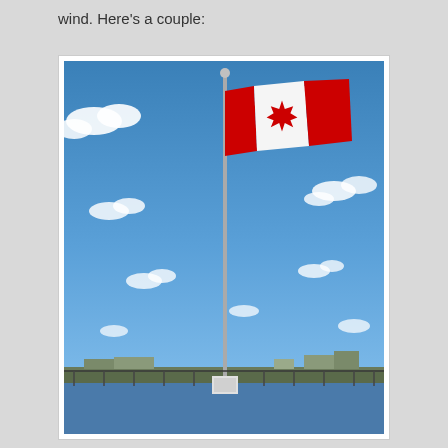wind. Here's a couple:
[Figure (photo): A Canadian flag flying on a tall flagpole against a bright blue sky with white clouds. A waterway and distant shoreline with buildings are visible at the bottom of the image.]